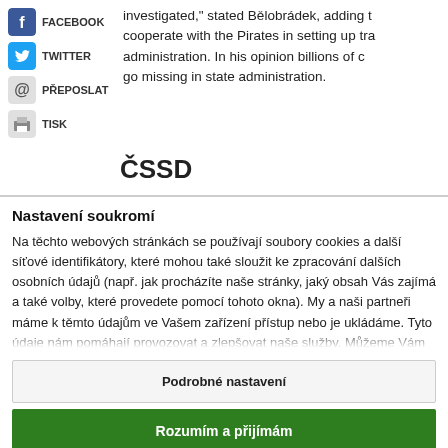[Figure (infographic): Social sharing icons: Facebook, Twitter, Přeposlat (email), Tisk (print)]
investigated," stated Bělobrádek, adding t... cooperate with the Pirates in setting up tra... administration. In his opinion billions of c... go missing in state administration.
ČSSD
Nastavení soukromí
Na těchto webových stránkách se používají soubory cookies a další síťové identifikátory, které mohou také sloužit ke zpracování dalších osobních údajů (např. jak procházíte naše stránky, jaký obsah Vás zajímá a také volby, které provedete pomocí tohoto okna). My a naši partneři máme k těmto údajům ve Vašem zařízení přístup nebo je ukládáme. Tyto údaje nám pomáhají provozovat a zlepšovat naše služby. Můžeme Vám také
Podrobné nastavení
Rozumím a přijímám